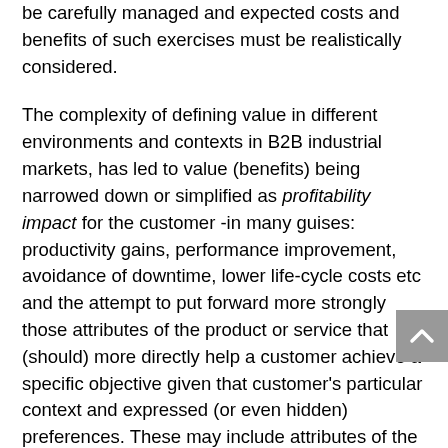be carefully managed and expected costs and benefits of such exercises must be realistically considered.
The complexity of defining value in different environments and contexts in B2B industrial markets, has led to value (benefits) being narrowed down or simplified as profitability impact for the customer -in many guises: productivity gains, performance improvement, avoidance of downtime, lower life-cycle costs etc and the attempt to put forward more strongly those attributes of the product or service that (should) more directly help a customer achieve a specific objective given that customer's particular context and expressed (or even hidden) preferences. These may include attributes of the service (product or solution) as well as of the supplier, e.g. the supplier's social proof and brand, references, reliability, ability to handle problems, longevity, strength of balance sheet, innovation capacity or green credentials